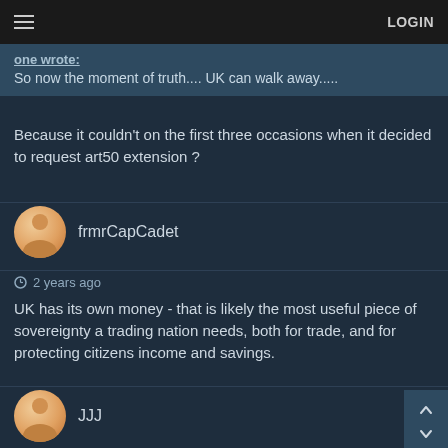≡  LOGIN
one wrote:
So now the moment of truth.... UK can walk away.....
Because it couldn't on the first three occasions when it decided to request art50 extension ?
frmrCapCadet
2 years ago
UK has its own money - that is likely the most useful piece of sovereignty a trading nation needs, both for trade, and for protecting citizens income and savings.
JJJ
2 years ago
LJ wrote:
JJJ wrote: